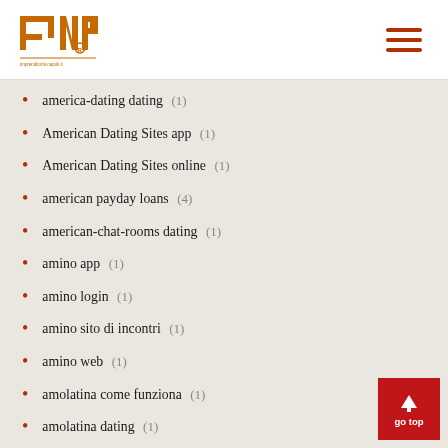INP logo and navigation
america-dating dating (1)
American Dating Sites app (1)
American Dating Sites online (1)
american payday loans (4)
american-chat-rooms dating (1)
amino app (1)
amino login (1)
amino sito di incontri (1)
amino web (1)
amolatina come funziona (1)
amolatina dating (1)